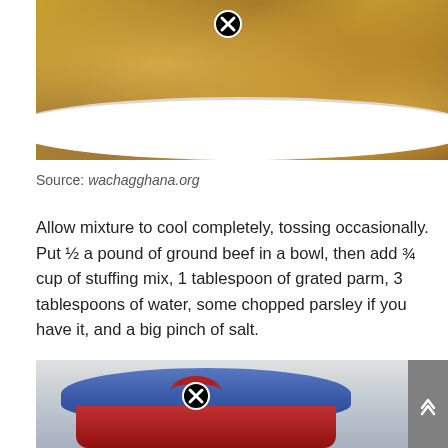[Figure (photo): Photo of a white bowl filled with bread stuffing/dressing, with a close button (X) overlay in the center top area]
Source: wachagghana.org
Allow mixture to cool completely, tossing occasionally. Put ½ a pound of ground beef in a bowl, then add ¾ cup of stuffing mix, 1 tablespoon of grated parm, 3 tablespoons of water, some chopped parsley if you have it, and a big pinch of salt.
[Figure (photo): Photo of a red cooking pot with a blue lid on a stovetop, with a close button (X) overlay and a scroll-up arrow button on the right]